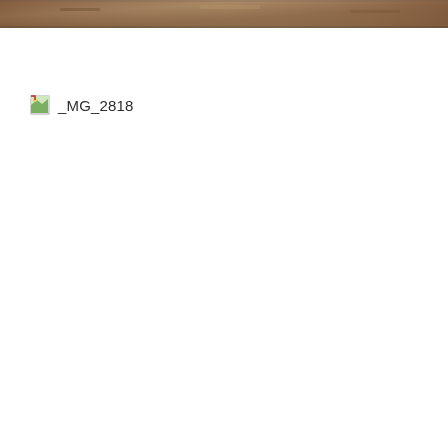[Figure (photo): Partial photo strip at top of page showing a brown earthy/dirt ground surface, cropped to a narrow horizontal band]
[Figure (photo): Broken image placeholder icon with label _MG_2818]